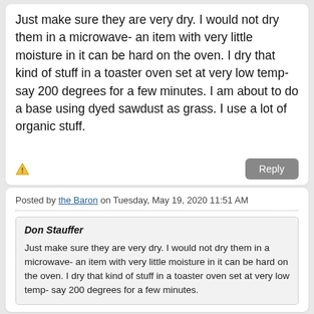Just make sure they are very dry.  I would not dry them in a microwave- an item with very little moisture in it can be hard on the oven. I dry that kind of stuff in a toaster oven set at very low temp- say 200 degrees for a few minutes. I am about to do a base using dyed sawdust as grass.  I use a lot of organic stuff.
Posted by the Baron on Tuesday, May 19, 2020 11:51 AM
Don Stauffer

Just make sure they are very dry.  I would not dry them in a microwave- an item with very little moisture in it can be hard on the oven. I dry that kind of stuff in a toaster oven set at very low temp- say 200 degrees for a few minutes.